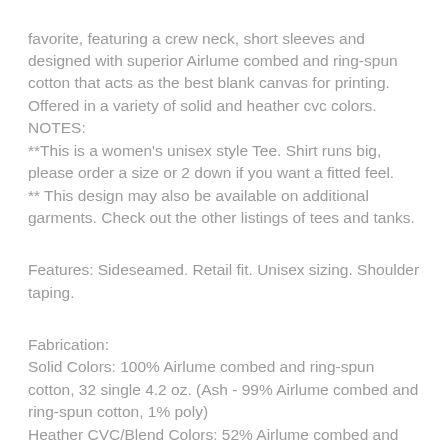favorite, featuring a crew neck, short sleeves and designed with superior Airlume combed and ring-spun cotton that acts as the best blank canvas for printing. Offered in a variety of solid and heather cvc colors. NOTES: **This is a women's unisex style Tee. Shirt runs big, please order a size or 2 down if you want a fitted feel. ** This design may also be available on additional garments. Check out the other listings of tees and tanks.
Features: Sideseamed. Retail fit. Unisex sizing. Shoulder taping.
Fabrication: Solid Colors: 100% Airlume combed and ring-spun cotton, 32 single 4.2 oz. (Ash - 99% Airlume combed and ring-spun cotton, 1% poly) Heather CVC/Blend Colors: 52% Airlume combed and ring-spun cotton, 48% poly (Ath. Heather - 90% Airlume combed and ring-spun cotton, 10% poly)